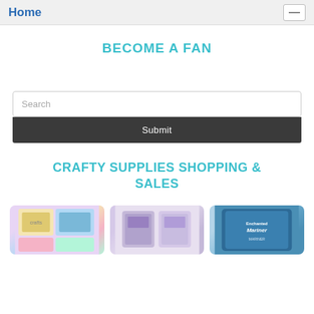Home
BECOME A FAN
Search
Submit
CRAFTY SUPPLIES SHOPPING & SALES
[Figure (photo): Three product cards showing crafty supplies items partially visible at bottom of page]
[Figure (photo): Second product card - stamps or craft paper]
[Figure (photo): Third product card - Mariner product in blue packaging]